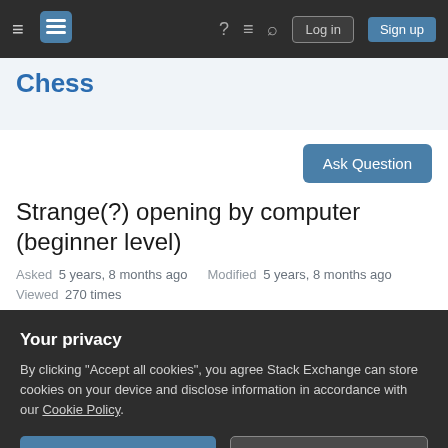Chess Stack Exchange — Navigation bar with Log in and Sign up buttons
Chess
Strange(?) opening by computer (beginner level)
Asked 5 years, 8 months ago   Modified 5 years, 8 months ago
Viewed 270 times
Your privacy
By clicking "Accept all cookies", you agree Stack Exchange can store cookies on your device and disclose information in accordance with our Cookie Policy.
Accept all cookies   Customize settings
my opening moves are similar to what a Spanish opening (but not quite) but I don't understand why